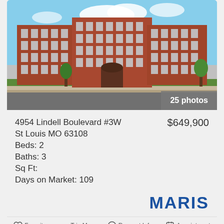[Figure (photo): Exterior photo of a large multi-story red brick apartment building at 4954 Lindell Boulevard, St Louis, MO 63108. The building has ornate classical detailing, multiple stories, white trim windows, and is photographed from the street with trees and blue sky visible.]
4954 Lindell Boulevard #3W
St Louis MO 63108
Beds: 2
Baths: 3
Sq Ft:
Days on Market: 109
$649,900
[Figure (logo): MARIS logo in bold blue text]
Favorite   Trip Map   Request Info   Appointment